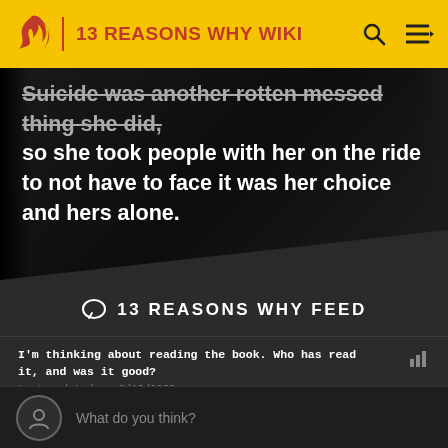13 REASONS WHY WIKI
Suicide was another rotten messed thing she did, so she took people with her on the ride to not have to face it was her choice and hers alone.
13 REASONS WHY FEED
I'm thinking about reading the book. Who has read it, and was it good?
Last updated on 8/12/2022
Bathtub scene
Last updated on 7/17/2022
What do you think?